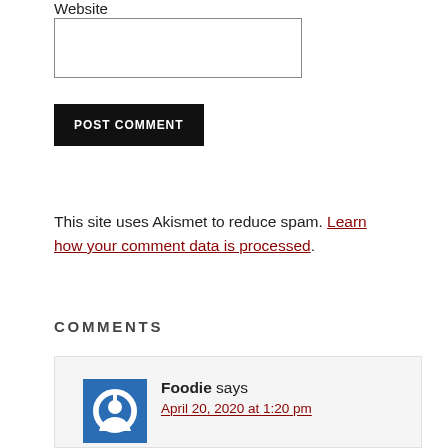Website
POST COMMENT
This site uses Akismet to reduce spam. Learn how your comment data is processed.
COMMENTS
Foodie says
April 20, 2020 at 1:20 pm
This is an awesome chat recipe. I used boiled potatoes, carrots and beet. I did not have bhujia and pomogranete but used bundi instead. It turned out well. But, next time